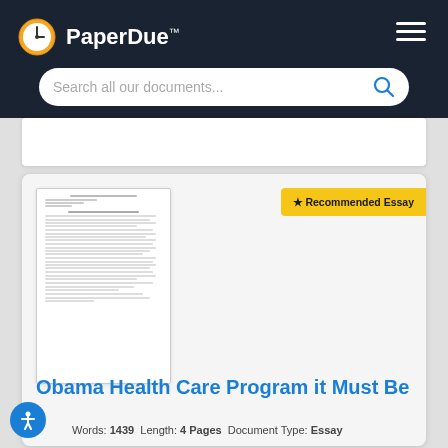PaperDue™
Search all our documents...
[Figure (screenshot): Document page preview thumbnail showing a formatted essay with numbered list items]
★ Recommended Essay
Obama Health Care Program it Must Be
Words: 1439  Length: 4 Pages  Document Type: Essay